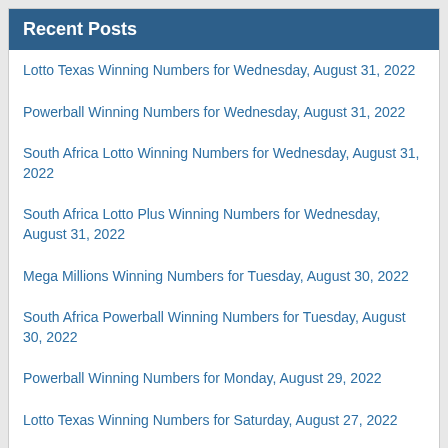Recent Posts
Lotto Texas Winning Numbers for Wednesday, August 31, 2022
Powerball Winning Numbers for Wednesday, August 31, 2022
South Africa Lotto Winning Numbers for Wednesday, August 31, 2022
South Africa Lotto Plus Winning Numbers for Wednesday, August 31, 2022
Mega Millions Winning Numbers for Tuesday, August 30, 2022
South Africa Powerball Winning Numbers for Tuesday, August 30, 2022
Powerball Winning Numbers for Monday, August 29, 2022
Lotto Texas Winning Numbers for Saturday, August 27, 2022
Powerball Winning Numbers for Saturday, August 27, 2022
South Africa Lotto Winning Numbers for Saturday, August 27, 2022
Next Estimated Jackpots